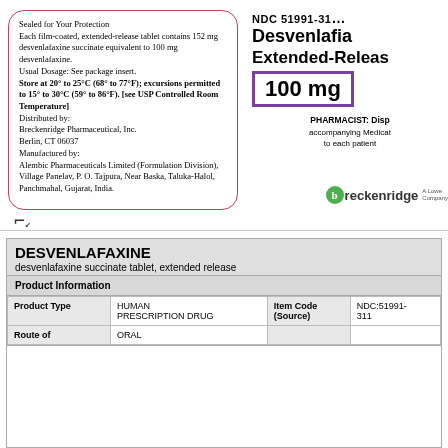Sealed for Your Protection
Each film-coated, extended-release tablet contains 152 mg desvenlafaxine succinate equivalent to 100 mg desvenlafaxine.
Usual Dosage: See package insert.
Store at 20° to 25°C (68° to 77°F); excursions permitted to 15° to 30°C (59° to 86°F). [see USP Controlled Room Temperature]
Distributed by:
Breckenridge Pharmaceutical, Inc.
Berlin, CT 06037
Manufactured by:
Alembic Pharmaceuticals Limited (Formulation Division),
Village Panelav, P. O. Tajpura, Near Baska, Taluka-Halol, Panchmahal, Gujarat, India.
NDC 51991-311
Desvenlafaxine
Extended-Release
100 mg
PHARMACIST: Disp accompanying Medica to each patient
[Figure (logo): Breckenridge logo with green circle b and 'A Lowe Company' text]
DESVENLAFAXINE
desvenlafaxine succinate tablet, extended release
| Product Information |  |  |  |
| --- | --- | --- | --- |
| Product Type | HUMAN PRESCRIPTION DRUG | Item Code (Source) | NDC:51991-311 |
| Route of | ORAL |  |  |